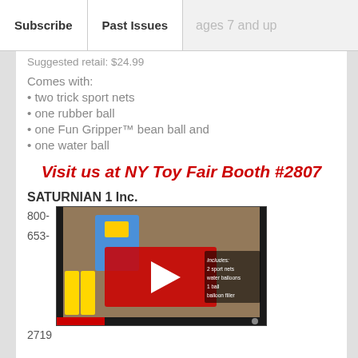Subscribe | Past Issues | ages 7 and up
Suggested retail: $24.99
Comes with:
• two trick sport nets
• one rubber ball
• one Fun Gripper™ bean ball and
• one water ball
Visit us at NY Toy Fair Booth #2807
SATURNIAN 1 Inc.
800-
653-
[Figure (screenshot): YouTube video thumbnail showing a toy sport set product video with a red play button overlay. Text on image reads: Includes: 2 sport nets, water balloons, 1 ball, balloon filler]
2719